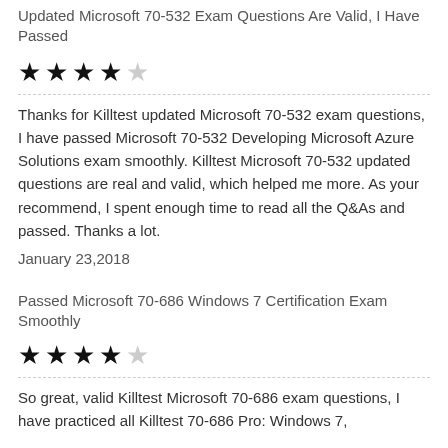Updated Microsoft 70-532 Exam Questions Are Valid, I Have Passed
★★★★☆
Thanks for Killtest updated Microsoft 70-532 exam questions, I have passed Microsoft 70-532 Developing Microsoft Azure Solutions exam smoothly. Killtest Microsoft 70-532 updated questions are real and valid, which helped me more. As your recommend, I spent enough time to read all the Q&As and passed. Thanks a lot.
January 23,2018
Passed Microsoft 70-686 Windows 7 Certification Exam Smoothly
★★★★☆
So great, valid Killtest Microsoft 70-686 exam questions, I have practiced all Killtest 70-686 Pro: Windows 7,